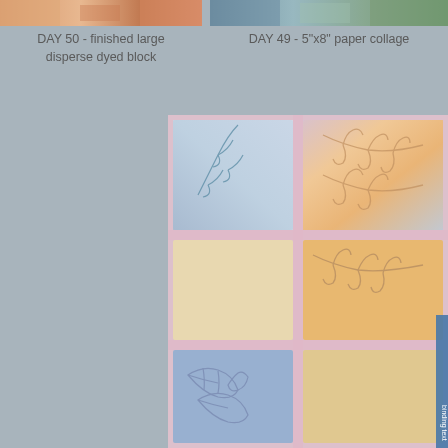[Figure (photo): Top-left photo: close-up of a colorful disperse dyed fabric block with warm orange and pink tones]
DAY 50 - finished large disperse dyed block
[Figure (photo): Top-right photo: a 5x8 inch paper collage with blue-green and botanical imagery]
DAY 49 - 5"x8" paper collage
[Figure (photo): Large main photo: a quilted fabric piece with pastel rainbow colors (pink, peach, orange, blue) featuring decorative feather and leaf quilting stitches arranged in a grid block pattern]